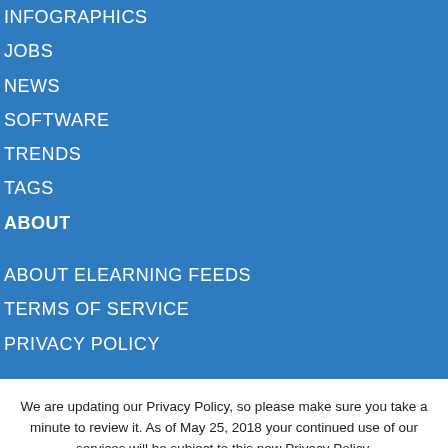INFOGRAPHICS
JOBS
NEWS
SOFTWARE
TRENDS
TAGS
ABOUT
ABOUT ELEARNING FEEDS
TERMS OF SERVICE
PRIVACY POLICY
We are updating our Privacy Policy, so please make sure you take a minute to review it. As of May 25, 2018 your continued use of our services will be subject to this new Privacy Policy.
Review Privacy Policy
✔ OK